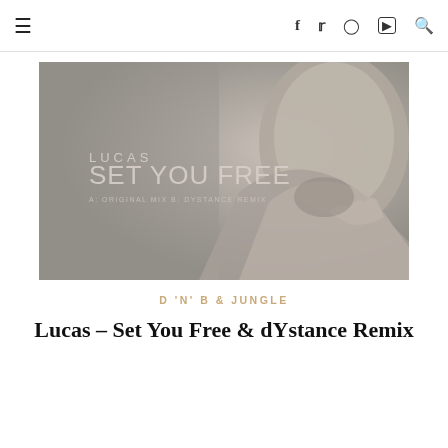☰  f  t  ⊙  ▶  🔍
[Figure (photo): Album cover artwork for Lucas - Set You Free, showing a close-up of a person's head and shoulder from behind in greyscale tones. Text on image reads: LUCAS / SET YOU FREE / A: ORIGINAL MIX   B: DYSTANCE REMIX]
D 'N' B & JUNGLE
Lucas – Set You Free & dYstance Remix